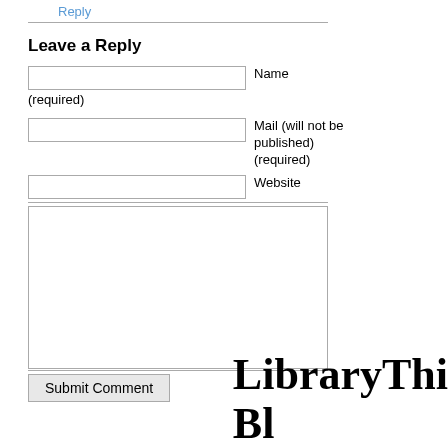Reply
Leave a Reply
Name (required)
Mail (will not be published) (required)
Website
Submit Comment
[Figure (logo): LibraryThing Blog logo text, large serif font, bottom right]